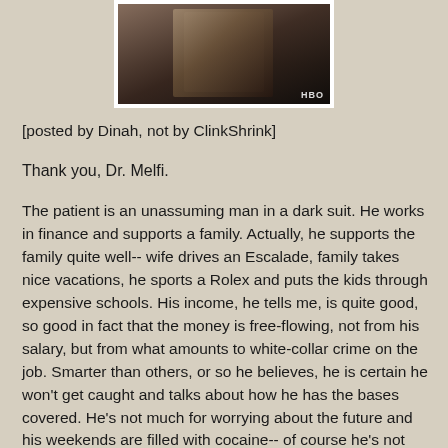[Figure (screenshot): A dark screenshot of a person in a dark suit sitting in a chair, with an HBO watermark in the bottom right corner. The image has a white border/frame around it.]
[posted by Dinah, not by ClinkShrink]
Thank you, Dr. Melfi.
The patient is an unassuming man in a dark suit. He works in finance and supports a family. Actually, he supports the family quite well-- wife drives an Escalade, family takes nice vacations, he sports a Rolex and puts the kids through expensive schools. His income, he tells me, is quite good, so good in fact that the money is free-flowing, not from his salary, but from what amounts to white-collar crime on the job. Smarter than others, or so he believes, he is certain he won't get caught and talks about how he has the bases covered. He's not much for worrying about the future and his weekends are filled with cocaine-- of course he's not addicted. He comes to treatment, reluctantly at first and then